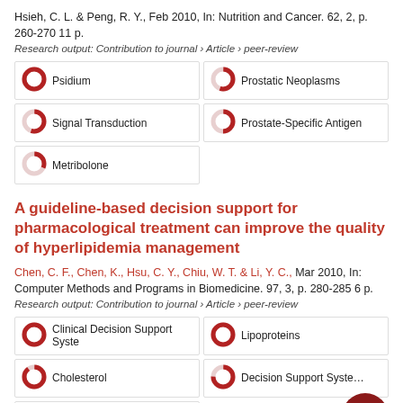Hsieh, C. L. & Peng, R. Y., Feb 2010, In: Nutrition and Cancer. 62, 2, p. 260-270 11 p.
Research output: Contribution to journal › Article › peer-review
[Figure (infographic): Keyword badges with donut percentage indicators: Psidium 100%, Prostatic Neoplasms ~55%, Signal Transduction ~55%, Prostate-Specific Antigen ~50%, Metribolone ~33%]
A guideline-based decision support for pharmacological treatment can improve the quality of hyperlipidemia management
Chen, C. F., Chen, K., Hsu, C. Y., Chiu, W. T. & Li, Y. C., Mar 2010, In: Computer Methods and Programs in Biomedicine. 97, 3, p. 280-285 6 p.
Research output: Contribution to journal › Article › peer-review
[Figure (infographic): Keyword badges with donut percentage indicators: Clinical Decision Support Syste 100%, Lipoproteins 100%, Cholesterol ~90%, Decision Support Syste... ~75%, Hyperlipidemia (partially visible)]